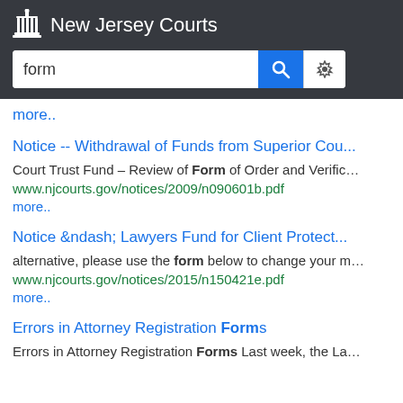New Jersey Courts — search bar with query: form
more..
Notice -- Withdrawal of Funds from Superior Cou...
Court Trust Fund – Review of Form of Order and Verific…
www.njcourts.gov/notices/2009/n090601b.pdf
more..
Notice &ndash; Lawyers Fund for Client Protect...
alternative, please use the form below to change your m…
www.njcourts.gov/notices/2015/n150421e.pdf
more..
Errors in Attorney Registration Forms
Errors in Attorney Registration Forms Last week, the La…